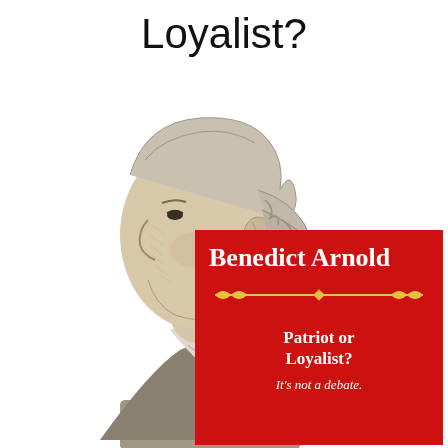Loyalist?
[Figure (illustration): Black and white engraving portrait of Benedict Arnold in profile view facing left, wearing 18th century clothing with ruffled collar and powdered wig]
Benedict Arnold
Patriot or Loyalist?
It's not a debate.